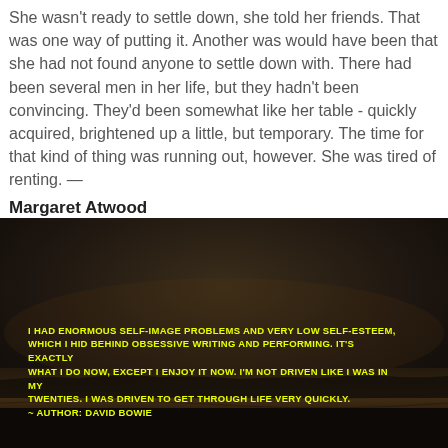She wasn't ready to settle down, she told her friends. That was one way of putting it. Another was would have been that she had not found anyone to settle down with. There had been several men in her life, but they hadn't been convincing. They'd been somewhat like her table - quickly acquired, brightened up a little, but temporary. The time for that kind of thing was running out, however. She was tired of renting. — Margaret Atwood
[Figure (photo): Dark atmospheric photo of a beach/ocean at dusk with a quote overlaid in yellow bold uppercase text reading: 'I HAD ENORMOUS SELF-IMAGE PROBLEMS AND VERY LOW SELF-ESTEEM, WHICH I HID BEHIND OBSESSIVE WRITING AND PERFORMING. IT'S EXACTLY WHAT I DO NOW, EXCEPT I ENJOY IT NOW. I'M NOT DRIVEN LIKE I WAS IN MY TWENTIES. I WAS DRIVEN TO GET THROUGH LIFE VERY QUICKLY. - AUTHOR: DAVID BOWIE']